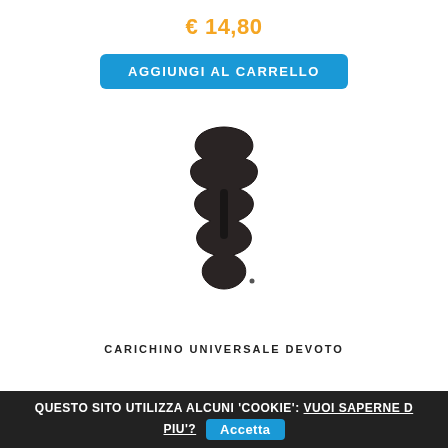€ 14,80
AGGIUNGI AL CARRELLO
[Figure (photo): A dark-colored ergonomic grip handle or bracket with wavy/ridged edges, photographed on white background.]
CARICHINO UNIVERSALE DEVOTO
QUESTO SITO UTILIZZA ALCUNI 'COOKIE': VUOI SAPERNE DI PIU'? Accetta